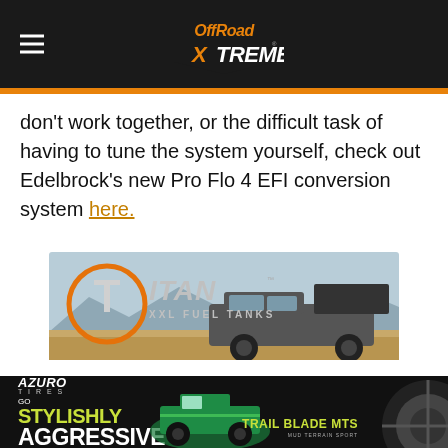Off Road Xtreme
don't work together, or the difficult task of having to tune the system yourself, check out Edelbrock's new Pro Flo 4 EFI conversion system here.
[Figure (photo): Titan XXL Fuel Tanks advertisement showing a lifted gray Toyota Tacoma truck in a desert landscape]
[Figure (photo): Azuro Tires advertisement: Go With Stylishly Aggressive - Trail Blade MTS, featuring colorful off-road trucks and large tires]